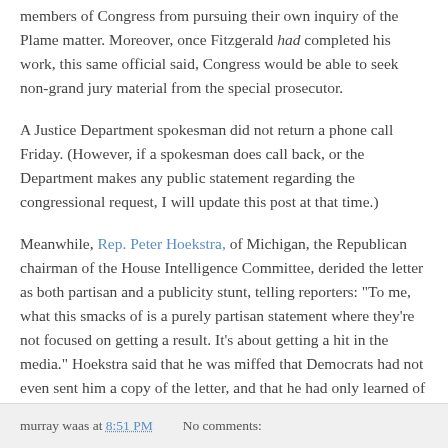members of Congress from pursuing their own inquiry of the Plame matter. Moreover, once Fitzgerald had completed his work, this same official said, Congress would be able to seek non-grand jury material from the special prosecutor.
A Justice Department spokesman did not return a phone call Friday. (However, if a spokesman does call back, or the Department makes any public statement regarding the congressional request, I will update this post at that time.)
Meanwhile, Rep. Peter Hoekstra, of Michigan, the Republican chairman of the House Intelligence Committee, derided the letter as both partisan and a publicity stunt, telling reporters: "To me, what this smacks of is a purely partisan statement where they're not focused on getting a result. It's about getting a hit in the media." Hoekstra said that he was miffed that Democrats had not even sent him a copy of the letter, and that he had only learned of it through the media.
murray waas at 8:51 PM   No comments: